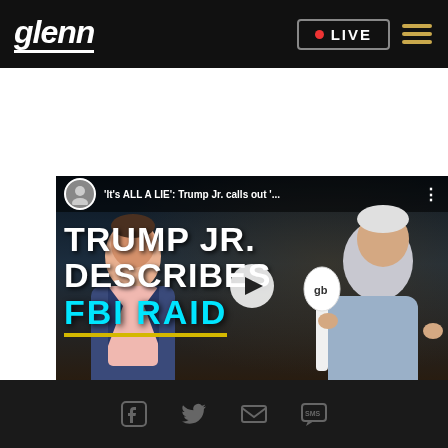glenn | LIVE
[Figure (screenshot): YouTube-style video thumbnail showing Trump Jr. and Glenn Beck. Title text reads: 'It's ALL A LIE': Trump Jr. calls out '...' with overlay text 'TRUMP JR. DESCRIBES FBI RAID' in large bold letters. A play button is visible in the center.]
Social share icons: Facebook, Twitter, Email, SMS